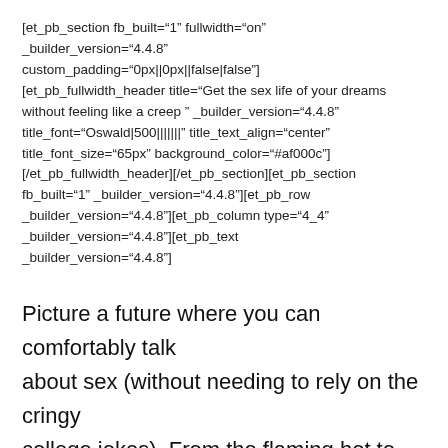[et_pb_section fb_built="1" fullwidth="on" _builder_version="4.4.8" custom_padding="0px||0px||false|false"] [et_pb_fullwidth_header title="Get the sex life of your dreams without feeling like a creep " _builder_version="4.4.8" title_font="Oswald|500|||||||" title_text_align="center" title_font_size="65px" background_color="#af000c"] [/et_pb_fullwidth_header][/et_pb_section][et_pb_section fb_built="1" _builder_version="4.4.8"][et_pb_row _builder_version="4.4.8"][et_pb_column type="4_4" _builder_version="4.4.8"][et_pb_text _builder_version="4.4.8"]
Picture a future where you can comfortably talk about sex (without needing to rely on the cringy college jokes). From the flaming hot to the